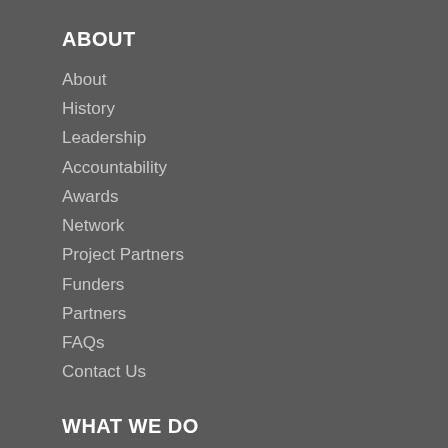ABOUT
About
History
Leadership
Accountability
Awards
Network
Project Partners
Funders
Partners
FAQs
Contact Us
WHAT WE DO
What we do
EIFL licensed e-resources
EIFL negotiated research support services
EIFL negotiated APCs